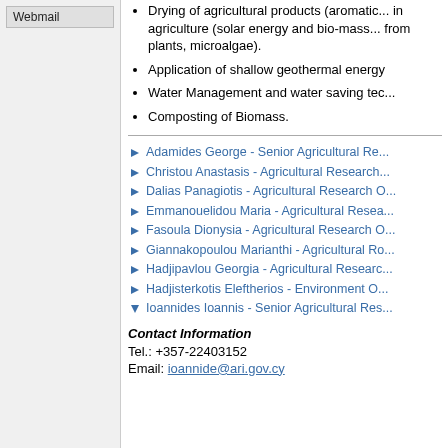Webmail
Drying of agricultural products (aromatic...) in agriculture (solar energy and bio-mass...) from plants, microalgae).
Application of shallow geothermal energy
Water Management and water saving tec...
Composting of Biomass.
Adamides George - Senior Agricultural Re...
Christou Anastasis - Agricultural Research...
Dalias Panagiotis - Agricultural Research O...
Emmanouelidou Maria - Agricultural Resea...
Fasoula Dionysia - Agricultural Research O...
Giannakopoulou Marianthi - Agricultural Ro...
Hadjipavlou Georgia - Agricultural Researc...
Hadjisterkotis Eleftherios - Environment O...
Ioannides Ioannis - Senior Agricultural Res...
Contact Information
Tel.: +357-22403152
Email: ioannide@ari.gov.cy